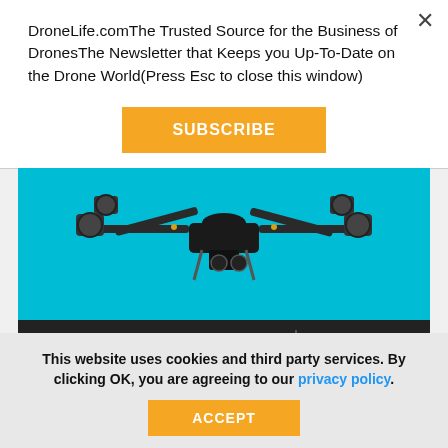DroneLife.comThe Trusted Source for the Business of DronesThe Newsletter that Keeps you Up-To-Date on the Drone World(Press Esc to close this window)
SUBSCRIBE
[Figure (illustration): Drone advertisement banner: top portion shows a black drone on a cyan/blue background. Bottom dark section reads 'GET EYES AND EARS IN PLACES TOO DANGEROUS TO SEND A PERSON' with a 'LEARN MORE' button.]
This website uses cookies and third party services. By clicking OK, you are agreeing to our privacy policy.
ACCEPT